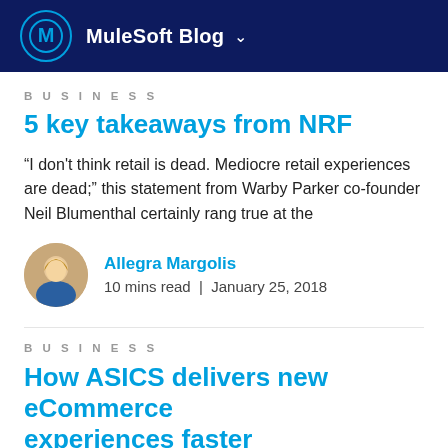MuleSoft Blog
BUSINESS
5 key takeaways from NRF
“I don’t think retail is dead. Mediocre retail experiences are dead;” this statement from Warby Parker co-founder Neil Blumenthal certainly rang true at the
Allegra Margolis
10 mins read  |  January 25, 2018
BUSINESS
How ASICS delivers new eCommerce experiences faster